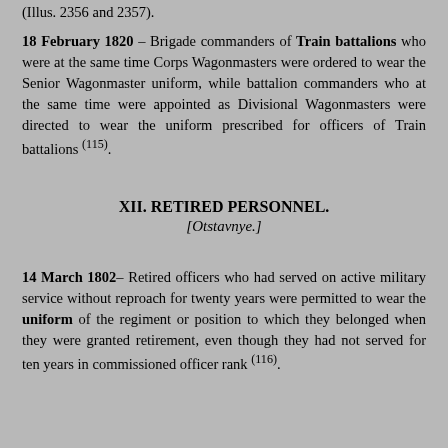(Illus. 2356 and 2357).
18 February 1820 – Brigade commanders of Train battalions who were at the same time Corps Wagonmasters were ordered to wear the Senior Wagonmaster uniform, while battalion commanders who at the same time were appointed as Divisional Wagonmasters were directed to wear the uniform prescribed for officers of Train battalions (115).
XII. RETIRED PERSONNEL.
[Otstavnye.]
14 March 1802– Retired officers who had served on active military service without reproach for twenty years were permitted to wear the uniform of the regiment or position to which they belonged when they were granted retirement, even though they had not served for ten years in commissioned officer rank (116).